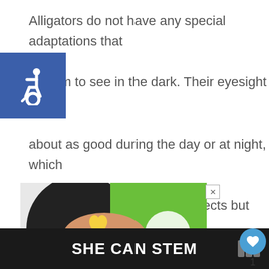Alligators do not have any special adaptations that allow them to see in the dark. Their eyesight is about as good during the day or at night, which means they can see small objects but cannot make out details very well.
[Figure (illustration): Blue square accessibility icon with wheelchair symbol]
[Figure (photo): Advertisement image showing hands holding a heart-shaped yellow cookie with 'cookies' text and green background]
SHE CAN STEM
[Figure (logo): Small logo in bottom right of footer bar]